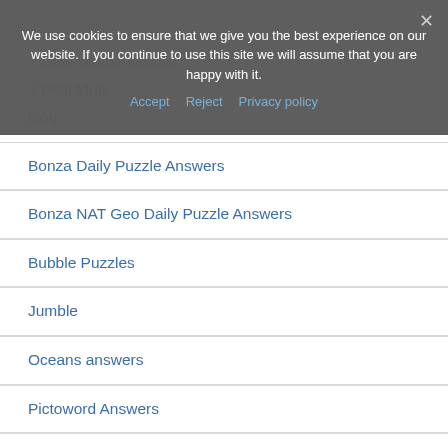We use cookies to ensure that we give you the best experience on our website. If you continue to use this site we will assume that you are happy with it.
7 Little Words sunrise
7 Petit Mots
blog
Bonza Daily Puzzle Answers
Bonza NAT Geo Daily Puzzle Answers
Bubble Puzzles
Jumble
Oceans answers
Pictoword Answers
Red Herrings Daily Puzzle Answers
Word Blast Mind Exercise
Word Cookies Daily answers
Word Crush